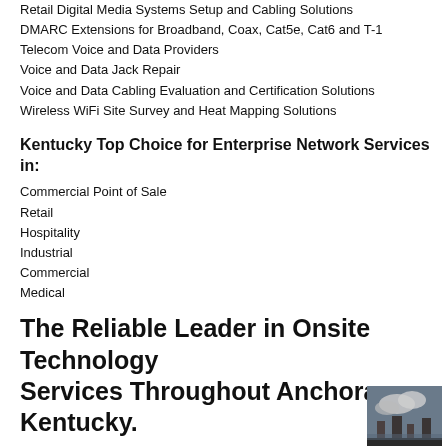Retail Digital Media Systems Setup and Cabling Solutions
DMARC Extensions for Broadband, Coax, Cat5e, Cat6 and T-1
Telecom Voice and Data Providers
Voice and Data Jack Repair
Voice and Data Cabling Evaluation and Certification Solutions
Wireless WiFi Site Survey and Heat Mapping Solutions
Kentucky Top Choice for Enterprise Network Services in:
Commercial Point of Sale
Retail
Hospitality
Industrial
Commercial
Medical
The Reliable Leader in Onsite Technology Services Throughout Anchorage Kentucky.
Kentucky Most Dependable Commercial and
[Figure (photo): A small thumbnail photo, appears to show an industrial or city scene.]